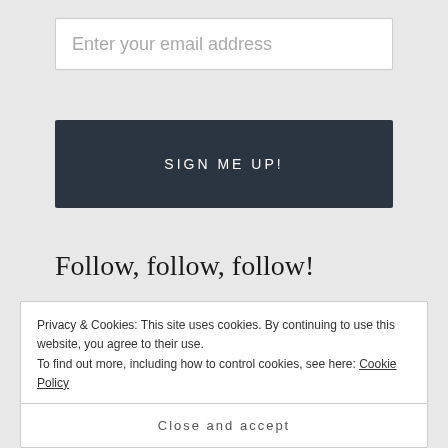Enter your email address
SIGN ME UP!
Follow, follow, follow!
Follow me on bloglovin'
Keep Track on Facebook!
Privacy & Cookies: This site uses cookies. By continuing to use this website, you agree to their use. To find out more, including how to control cookies, see here: Cookie Policy
Close and accept